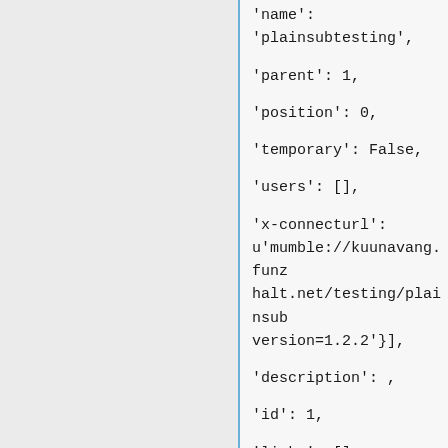'name': 'plainsubtesting',

'parent': 1,

'position': 0,

'temporary': False,

'users': [],

'x-connecturl': u'mumble://kuunavang.funzhalt.net/testing/plainsub?version=1.2.2'}],

'description': ,

'id': 1,

'links': [],

'name': 'testing',

'parent': 0,